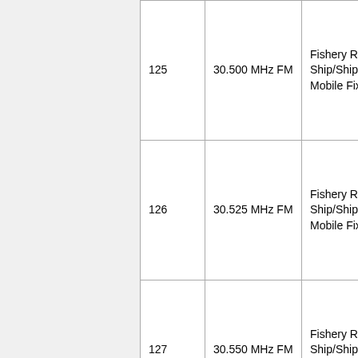| Channel | Frequency/Mode | Description |
| --- | --- | --- |
| 125 | 30.500 MHz FM | Fishery Radio - Ship to Ship/Ship to Shore Maritime Mobile Fixed |
| 126 | 30.525 MHz FM | Fishery Radio - Ship to Ship/Ship to Shore Maritime Mobile Fixed |
| 127 | 30.550 MHz FM | Fishery Radio - Ship to Ship/Ship to Shore Maritime Mobile Fixed |
| 128 | 30.575 MHz FM | Fishery Radio - Ship to Ship/Ship to Shore Maritime Mobile Fixed |
| 129 | 30.600 MHz FM | Fishery Radio - Ship to Ship/Ship to Shore Maritime Mobile Fixed |
|  | 30.625 MHz | Fishery Radio - Ship to Ship/Ship to |